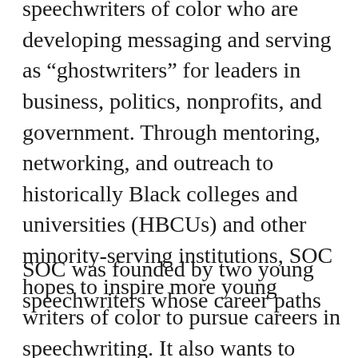speechwriters of color who are developing messaging and serving as “ghostwriters” for leaders in business, politics, nonprofits, and government. Through mentoring, networking, and outreach to historically Black colleges and universities (HBCUs) and other minority-serving institutions, SOC hopes to inspire more young writers of color to pursue careers in speechwriting. It also wants to encourage more thought leaders from every sector to hire a diverse cadre of talented speechwriters.
SOC was founded by two young speechwriters whose career paths